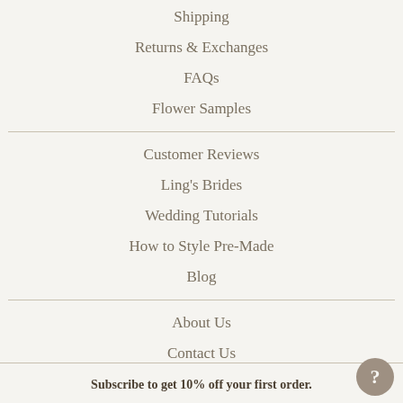Shipping
Returns & Exchanges
FAQs
Flower Samples
Customer Reviews
Ling's Brides
Wedding Tutorials
How to Style Pre-Made
Blog
About Us
Contact Us
Subscribe to get 10% off your first order.